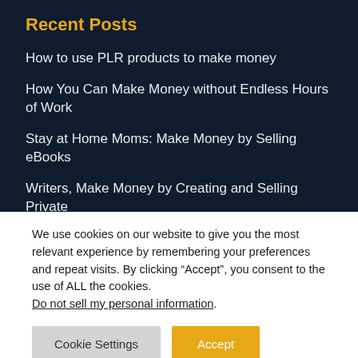Recent Posts
How to use PLR products to make money
How You Can Make Money without Endless Hours of Work
Stay at Home Moms: Make Money by Selling eBooks
Writers, Make Money by Creating and Selling Private
We use cookies on our website to give you the most relevant experience by remembering your preferences and repeat visits. By clicking “Accept”, you consent to the use of ALL the cookies. Do not sell my personal information.